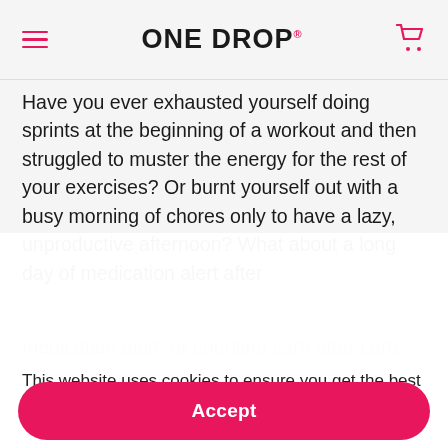ONE DROP
Have you ever exhausted yourself doing sprints at the beginning of a workout and then struggled to muster the energy for the rest of your exercises? Or burnt yourself out with a busy morning of chores only to have a lazy, unproductive afternoon? What about a long day of medication alert after medication alert, or counting carb after carb, and [faded] ...make sense of everything you [faded]
This website uses cookies to ensure you get the best experience. Learn more
Accept